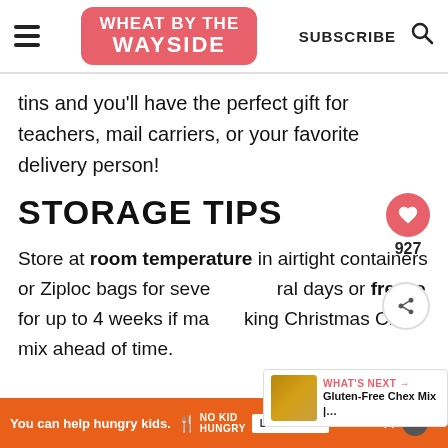WHEAT BY THE WAYSIDE | SUBSCRIBE
tins and you'll have the perfect gift for teachers, mail carriers, or your favorite delivery person!
STORAGE TIPS
Store at room temperature in airtight containers or Ziploc bags for several days or freeze for up to 4 weeks if making Christmas Chex mix ahead of time.
[Figure (screenshot): What's Next card overlay showing Gluten-Free Chex Mix thumbnail]
You can help hungry kids. NO KID HUNGRY LEARN HOW